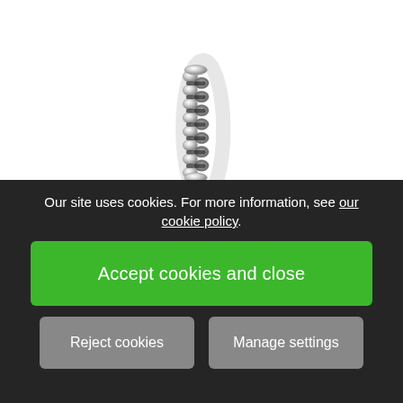[Figure (photo): A silver braided/twisted stacking ring shown from the side against a white background]
Christina Rodan London Milan
£29.00
Our site uses cookies. For more information, see our cookie policy.
Accept cookies and close
Reject cookies
Manage settings